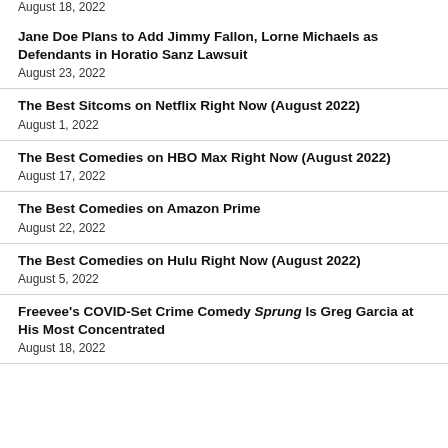August 18, 2022
Jane Doe Plans to Add Jimmy Fallon, Lorne Michaels as Defendants in Horatio Sanz Lawsuit
August 23, 2022
The Best Sitcoms on Netflix Right Now (August 2022)
August 1, 2022
The Best Comedies on HBO Max Right Now (August 2022)
August 17, 2022
The Best Comedies on Amazon Prime
August 22, 2022
The Best Comedies on Hulu Right Now (August 2022)
August 5, 2022
Freevee's COVID-Set Crime Comedy Sprung Is Greg Garcia at His Most Concentrated
August 18, 2022